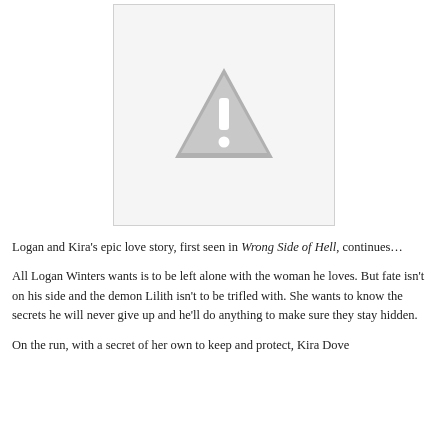[Figure (illustration): Placeholder image with a grey warning/caution triangle icon (exclamation mark inside triangle) on a light grey background, bordered rectangle]
Logan and Kira's epic love story, first seen in Wrong Side of Hell, continues…
All Logan Winters wants is to be left alone with the woman he loves. But fate isn't on his side and the demon Lilith isn't to be trifled with. She wants to know the secrets he will never give up and he'll do anything to make sure they stay hidden.
On the run, with a secret of her own to keep and protect, Kira Dove